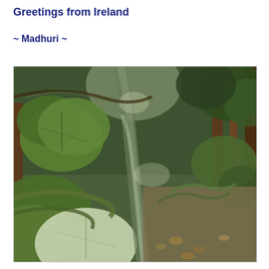Greetings from Ireland
~ Madhuri ~
[Figure (photo): A lush green forest scene in Ireland with large leafy plants, mossy branches, and a narrow stream or path running through the middle of the dense vegetation.]